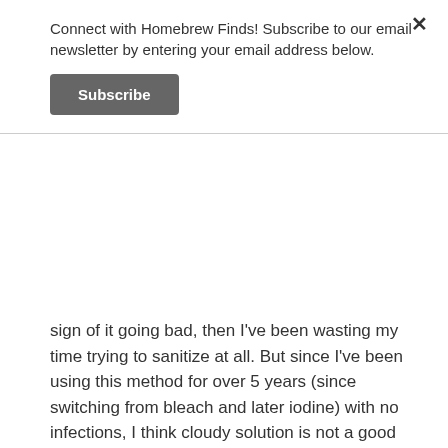Connect with Homebrew Finds! Subscribe to our email newsletter by entering your email address below.
Subscribe
sign of it going bad, then I've been wasting my time trying to sanitize at all. But since I've been using this method for over 5 years (since switching from bleach and later iodine) with no infections, I think cloudy solution is not a good measure of the quality of your solution.
Reply ↓
J
March 30, 2016 at 4:27 pm